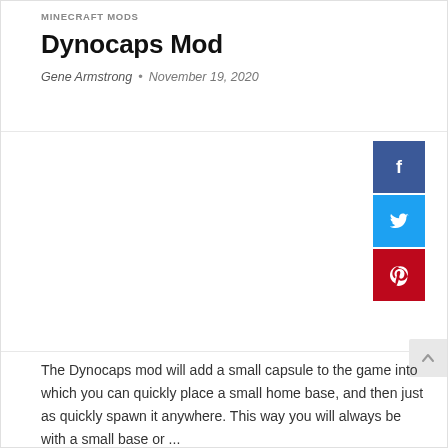MINECRAFT MODS
Dynocaps Mod
Gene Armstrong  •  November 19, 2020
[Figure (infographic): Three social media share buttons stacked vertically: Facebook (blue), Twitter (light blue), Pinterest (red), each showing the respective platform icon in white.]
The Dynocaps mod will add a small capsule to the game into which you can quickly place a small home base, and then just as quickly spawn it anywhere. This way you will always be with a small base or ...